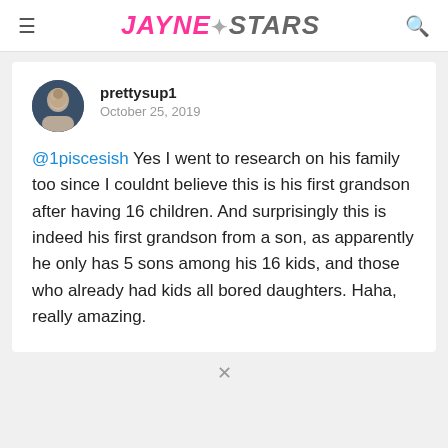JAYNE★STARS
prettysup1
October 25, 2019
@1piscesish Yes I went to research on his family too since I couldnt believe this is his first grandson after having 16 children. And surprisingly this is indeed his first grandson from a son, as apparently he only has 5 sons among his 16 kids, and those who already had kids all bored daughters. Haha, really amazing.